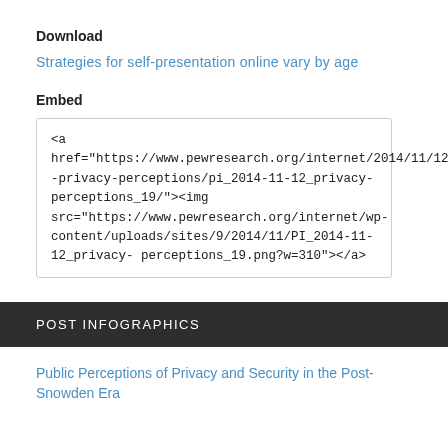Download
Strategies for self-presentation online vary by age
Embed
<a href="https://www.pewresearch.org/internet/2014/11/12/public-privacy-perceptions/pi_2014-11-12_privacy-perceptions_19/"><img src="https://www.pewresearch.org/internet/wp-content/uploads/sites/9/2014/11/PI_2014-11-12_privacy-perceptions_19.png?w=310"></a>
POST INFOGRAPHICS
Public Perceptions of Privacy and Security in the Post-Snowden Era